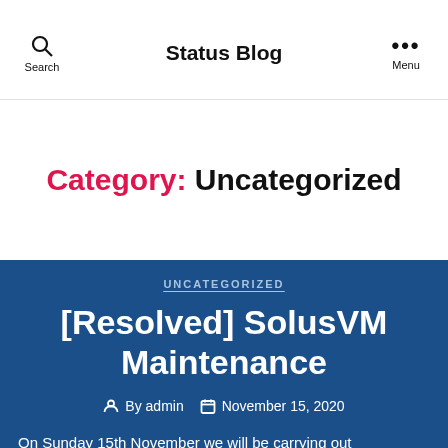Status Blog
Category: Uncategorized
UNCATEGORIZED
[Resolved] SolusVM Maintenance
By admin  November 15, 2020
On Sunday 15th November we will be carrying out